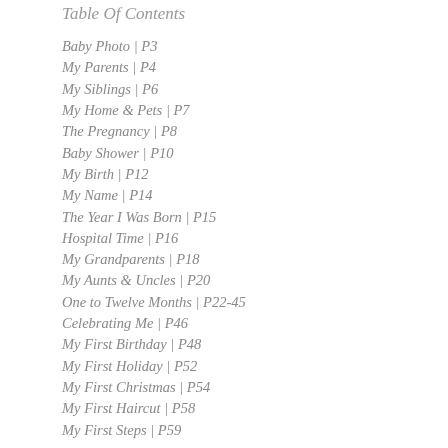Table Of Contents
Baby Photo | P3
My Parents | P4
My Siblings | P6
My Home & Pets | P7
The Pregnancy | P8
Baby Shower | P10
My Birth | P12
My Name | P14
The Year I Was Born | P15
Hospital Time | P16
My Grandparents | P18
My Aunts & Uncles | P20
One to Twelve Months | P22-45
Celebrating Me | P46
My First Birthday | P48
My First Holiday | P52
My First Christmas | P54
My First Haircut | P58
My First Steps | P59